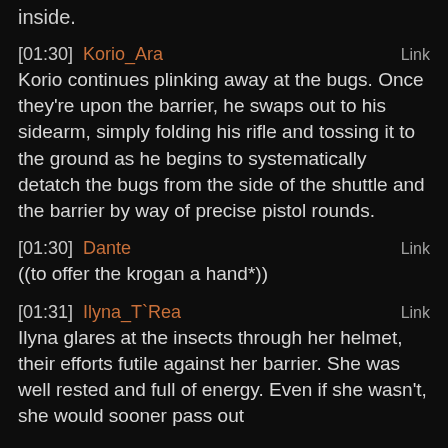inside.
[01:30] Korio_Ara Link
Korio continues plinking away at the bugs. Once they're upon the barrier, he swaps out to his sidearm, simply folding his rifle and tossing it to the ground as he begins to systematically detatch the bugs from the side of the shuttle and the barrier by way of precise pistol rounds.
[01:30] Dante Link
((to offer the krogan a hand*))
[01:31] Ilyna_T`Rea Link
Ilyna glares at the insects through her helmet, their efforts futile against her barrier. She was well rested and full of energy. Even if she wasn't, she would sooner pass out